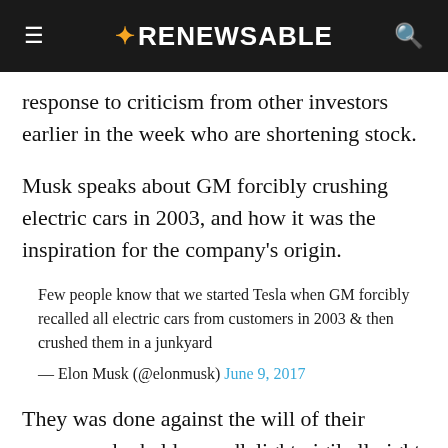RENEWABLE
response to criticism from other investors earlier in the week who are shortening stock.
Musk speaks about GM forcibly crushing electric cars in 2003, and how it was the inspiration for the company's origin.
Few people know that we started Tesla when GM forcibly recalled all electric cars from customers in 2003 & then crushed them in a junkyard
— Elon Musk (@elonmusk) June 9, 2017
They was done against the will of their owners, who held a candlelight vigil all night to protest the death of their cars